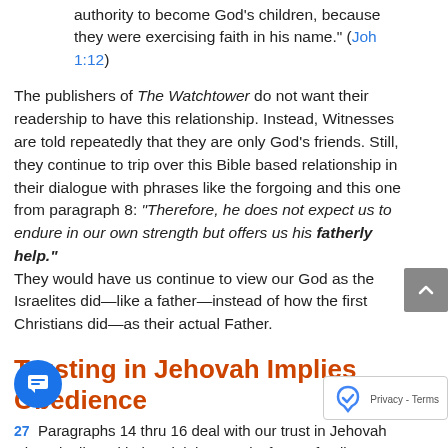authority to become God's children, because they were exercising faith in his name." (Joh 1:12)
The publishers of The Watchtower do not want their readership to have this relationship. Instead, Witnesses are told repeatedly that they are only God's friends. Still, they continue to trip over this Bible based relationship in their dialogue with phrases like the forgoing and this one from paragraph 8: “Therefore, he does not expect us to endure in our own strength but offers us his fatherly help.” They would have us continue to view our God as the Israelites did—like a father—instead of how the first Christians did—as their actual Father.
Trusting in Jehovah Implies Obedience
27
Paragraphs 14 thru 16 deal with our trust in Jehovah when dealing with the trial that results from a family